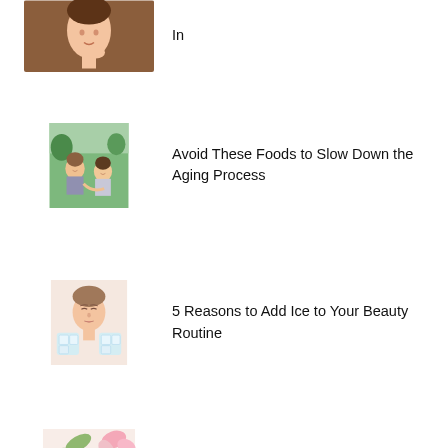[Figure (photo): Woman touching her neck/chin, beauty photo, partial view at top of page]
In
[Figure (photo): Two women smiling outdoors, mother and daughter]
Avoid These Foods to Slow Down the Aging Process
[Figure (photo): Woman holding ice cubes near her face, beauty treatment]
5 Reasons to Add Ice to Your Beauty Routine
[Figure (photo): Waxing products - tea, wax, and applicator with pink flowers]
Is This Hair Removal Method Better Than Waxing?
[Figure (photo): Woman with towel on head touching her face in mirror]
Puffy Morning Face? Here Are 4 Easy Solutions